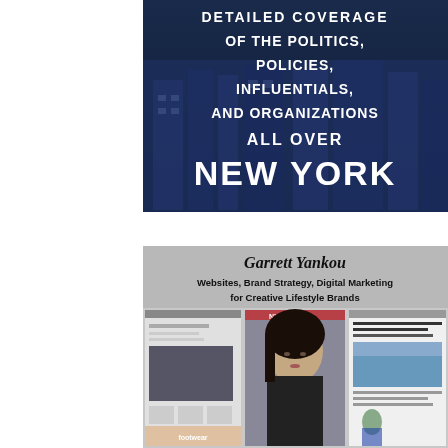[Figure (illustration): Advertisement with dark blue government building background showing text: DETAILED COVERAGE OF THE POLITICS, POLICIES, INFLUENTIALS, AND ORGANIZATIONS ALL OVER NEW YORK]
[Figure (illustration): Advertisement for Garrett Yankou - Websites, Brand Strategy, Digital Marketing for Creative Lifestyle Brands, showing website screenshots and a portrait photo]